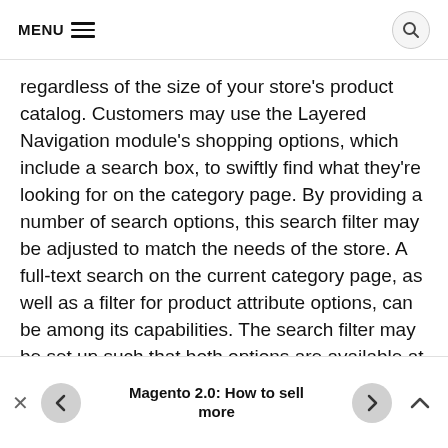MENU ☰ 🔍
regardless of the size of your store's product catalog. Customers may use the Layered Navigation module's shopping options, which include a search box, to swiftly find what they're looking for on the category page. By providing a number of search options, this search filter may be adjusted to match the needs of the store. A full-text search on the current category page, as well as a filter for product attribute options, can be among its capabilities. The search filter may be set up such that both options are available at the same time.
Magento 2.0: How to sell more